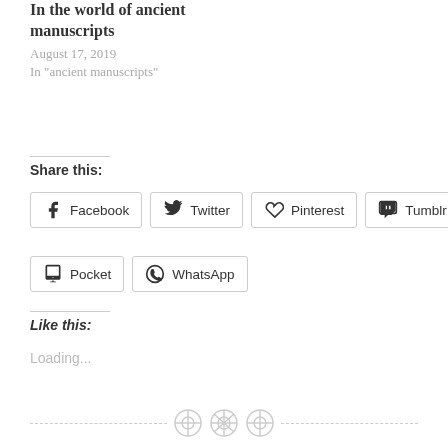In the world of ancient manuscripts
August 17, 2019
In "ancient manuscripts"
Share this:
Facebook  Twitter  Pinterest  Tumblr  Pocket  WhatsApp
Like this:
Loading...